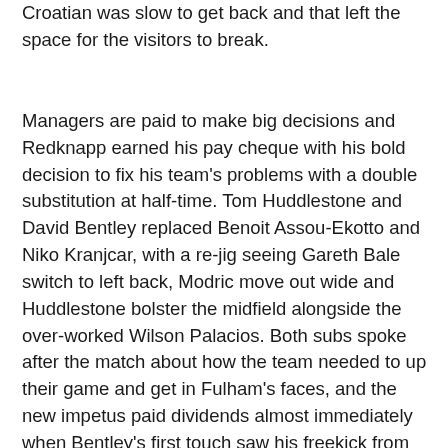Croatian was slow to get back and that left the space for the visitors to break.
Managers are paid to make big decisions and Redknapp earned his pay cheque with his bold decision to fix his team's problems with a double substitution at half-time. Tom Huddlestone and David Bentley replaced Benoit Assou-Ekotto and Niko Kranjcar, with a re-jig seeing Gareth Bale switch to left back, Modric move out wide and Huddlestone bolster the midfield alongside the over-worked Wilson Palacios. Both subs spoke after the match about how the team needed to up their game and get in Fulham's faces, and the new impetus paid dividends almost immediately when Bentley's first touch saw his freekick from out wide find its way in to the back of the net. Redknapp's half time changes certainly altered the course of the match, but he was forced to make another big call just minutes later when Vedran Corluka went down, unable to continue. The Tottenham injury list meant three young outfield players were making up the